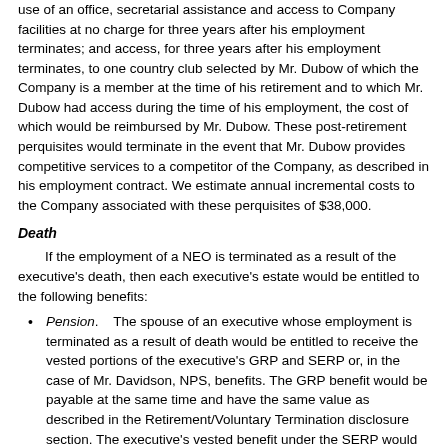use of an office, secretarial assistance and access to Company facilities at no charge for three years after his employment terminates; and access, for three years after his employment terminates, to one country club selected by Mr. Dubow of which the Company is a member at the time of his retirement and to which Mr. Dubow had access during the time of his employment, the cost of which would be reimbursed by Mr. Dubow. These post-retirement perquisites would terminate in the event that Mr. Dubow provides competitive services to a competitor of the Company, as described in his employment contract. We estimate annual incremental costs to the Company associated with these perquisites of $38,000.
Death
If the employment of a NEO is terminated as a result of the executive's death, then each executive's estate would be entitled to the following benefits:
Pension.    The spouse of an executive whose employment is terminated as a result of death would be entitled to receive the vested portions of the executive's GRP and SERP or, in the case of Mr. Davidson, NPS, benefits. The GRP benefit would be payable at the same time and have the same value as described in the Retirement/Voluntary Termination disclosure section. The executive's vested benefit under the SERP would be payable to an eligible spouse at the later of the date of death or the date the executive would have attained age 55, with the same value as described in the Retirement/Voluntary Termination disclosure section. Under the NPS, a qualifying dependent receives an annuity, payable for life from the day after the member's death, equal to 50% of the participant's annuity, based on pensionable salary at the date of death of the member and calculated as if the member had stayed in pensionable